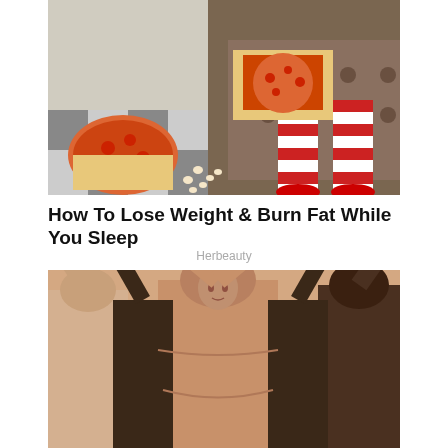[Figure (photo): Person lounging on a couch with red and white striped socks, holding a pizza box, with another pizza on the floor along with popcorn on a checkered floor.]
How To Lose Weight & Burn Fat While You Sleep
Herbeauty
[Figure (photo): Kim Kardashian and several models wearing body-hugging shapewear in various nude and dark tones, arms raised.]